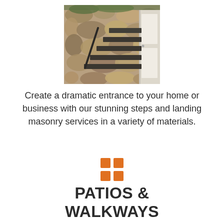[Figure (photo): Photo of outdoor stone steps with dark metal railings next to a stone wall and a white door]
Create a dramatic entrance to your home or business with our stunning steps and landing masonry services in a variety of materials.
[Figure (illustration): Orange 2x2 grid icon]
PATIOS & WALKWAYS